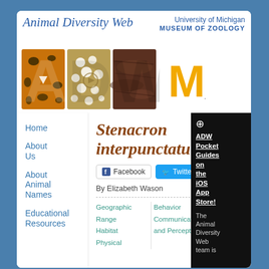[Figure (screenshot): Animal Diversity Web website screenshot showing header with ADW logo letters (A, D, W) filled with animal textures, University of Michigan Museum of Zoology branding, navigation sidebar, species page for Stenacron interpunctatum, social sharing buttons, author line, and topic navigation links. A black sidebar on the right advertises ADW Pocket Guides on the iOS App Store.]
Animal Diversity Web
University of Michigan
MUSEUM OF ZOOLOGY
Stenacron interpunctatum
Facebook  Twitter
By Elizabeth Wason
Home
About Us
About Animal Names
Educational Resources
Geographic Range
Habitat
Physical
Behavior
Communication and Perception
omic
rtance
umans
tive
ADW Pocket Guides on the iOS App Store!
The Animal Diversity Web team is